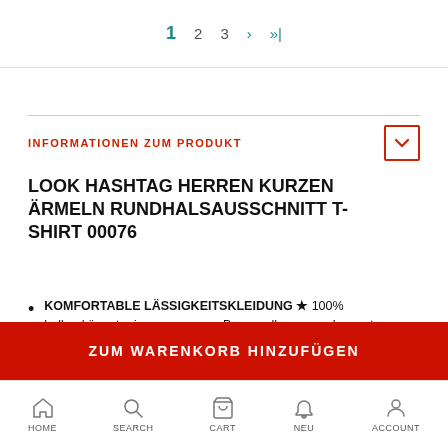1  2  3  ›  »|
INFORMATIONEN ZUM PRODUKT
LOOK HASHTAG HERREN KURZEN ÄRMELN RUNDHALSAUSSCHNITT T-SHIRT 00076
KOMFORTABLE LÄSSIGKEITSKLEIDUNG ★ 100% halbgekämmte ringgesponnene Baumwolle, angenehm zu tragen. Verstärkungsband am Nacken. Flachen Ringlragen. Maschinenwaschbar.
HOME  SEARCH  CART  NEU  ACCOUNT